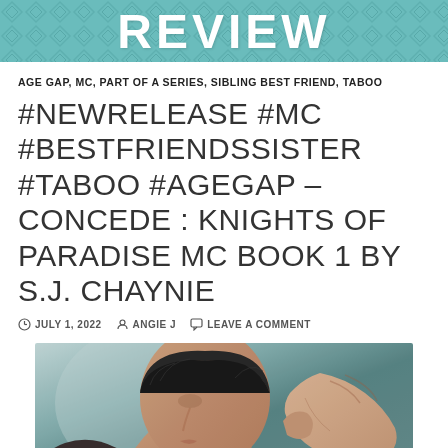REVIEW
AGE GAP, MC, PART OF A SERIES, SIBLING BEST FRIEND, TABOO
#NEWRELEASE #MC #BESTFRIENDSSISTER #TABOO #AGEGAP – CONCEDE : KNIGHTS OF PARADISE MC BOOK 1 BY S.J. CHAYNIE
JULY 1, 2022  ANGIE J  LEAVE A COMMENT
[Figure (photo): Close-up photo of a man's face in profile, dark hair, appearing to be in an intimate or emotional moment, with another person's hand visible near his face]